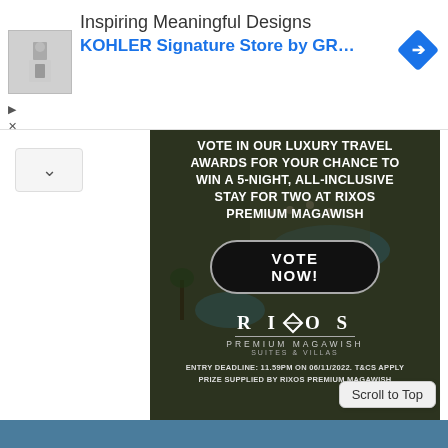[Figure (screenshot): Ad banner for KOHLER Signature Store by GR... with product thumbnail, title 'Inspiring Meaningful Designs' and blue subtitle, and a blue navigation diamond icon]
[Figure (photo): Rixos Premium Magawish promotional image with aerial resort background, overlay text 'VOTE IN OUR LUXURY TRAVEL AWARDS FOR YOUR CHANCE TO WIN A 5-NIGHT, ALL-INCLUSIVE STAY FOR TWO AT RIXOS PREMIUM MAGAWISH', Vote Now button, Rixos logo, entry deadline text]
Scroll to Top